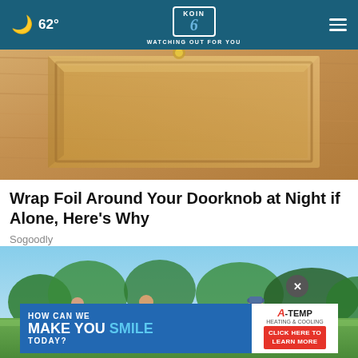62° | KOIN 6 | WATCHING OUT FOR YOU
[Figure (photo): Close-up photo of a wooden door with raised panel detail, warm tan/golden color]
Wrap Foil Around Your Doorknob at Night if Alone, Here's Why
Sogoodly
[Figure (photo): Outdoor photo of men playing golf on a sunny day with trees in background]
[Figure (other): Advertisement banner: HOW CAN WE MAKE YOU SMILE TODAY? with A-TEMP logo and CLICK HERE TO LEARN MORE button]